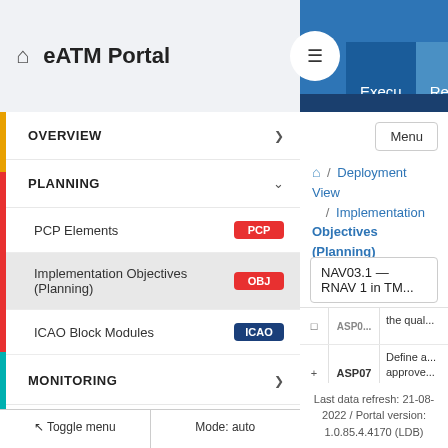eATM Portal — Navigation header with home icon, hamburger menu, Execu / Resea / Deploy tabs
OVERVIEW
PLANNING
PCP Elements [PCP badge]
Implementation Objectives (Planning) [OBJ badge] — active/selected
ICAO Block Modules [ICAO badge]
MONITORING
Toggle menu | Mode: auto
Menu button
/ Deployment View / Implementation Objectives (Planning) /
NAV03.1 — RNAV 1 in TM...
ASP0... the qual...
ASP07  Define a... approve... EUROC...
Adapt AT...
Last data refresh: 21-08-2022 / Portal version: 1.0.85.4.4170 (LDB)